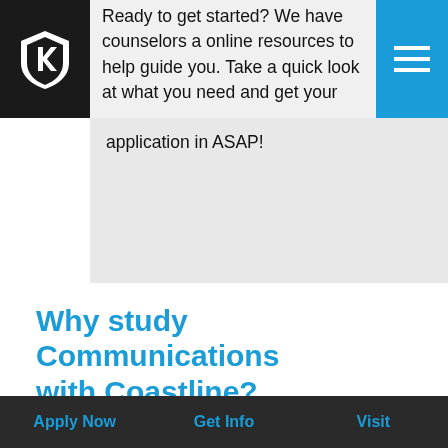Ready to get started? We have counselors and online resources to help guide you. Take a quick look at what you need and get your application in ASAP!
Why study Communications with Coastline?
Coastline College's Communication Studies programs empower students with the tools to analyze and improve communication in their personal, academic, public, and professional interactions. Students will study and learn to effectively construct, evaluate, and
Apply Now    Get Info    Visit